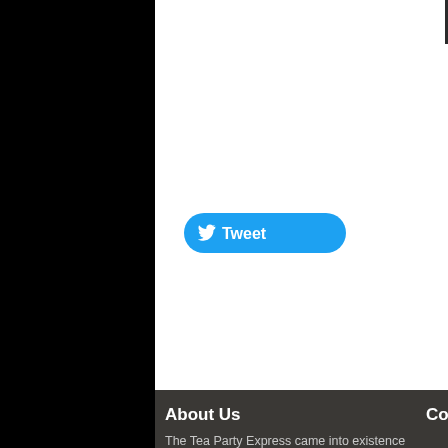[Figure (screenshot): Tweet button with Twitter bird icon]
About Us
The Tea Party Express came into existence as the tea party movement was awakened by the famous Rick Santelli rant that swept across the country in February of 2009. This power and influence could not be ignored by the political establishment as the grassroots movement exploded onto the scene. Now, after nine national bus tours and
Cont
Mailin
Tea P
9460
Hilma
Email
info@
press